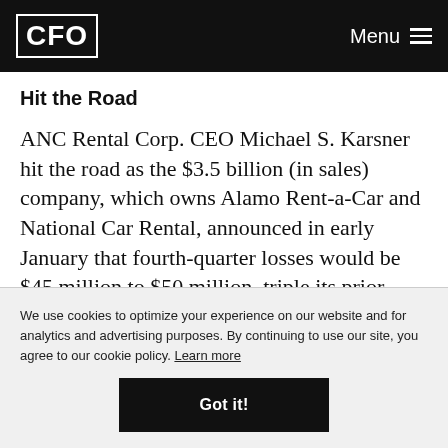CFO  Menu
Hit the Road
ANC Rental Corp. CEO Michael S. Karsner hit the road as the $3.5 billion (in sales) company, which owns Alamo Rent-a-Car and National Car Rental, announced in early January that fourth-quarter losses would be $45 million to $50 million, triple its prior projections. Karsner, formerly CFO of both AutoNation Inc. and Dole
We use cookies to optimize your experience on our website and for analytics and advertising purposes. By continuing to use our site, you agree to our cookie policy. Learn more
Got it!